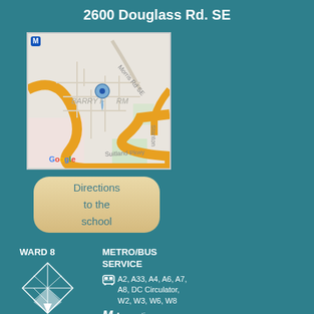2600 Douglass Rd. SE
[Figure (map): Google Maps screenshot showing the Barry Farm neighborhood in Washington DC SE, with Suitland Pkwy, Morris Rd SE, and a blue location pin dropped near Barry Farm. A yellow/orange road curves through the map.]
Directions to the school
WARD 8
[Figure (illustration): Outline map of Washington DC diamond shape divided into ward boundaries, with Ward 8 at the bottom highlighted.]
METRO/BUS SERVICE
A2, A33, A4, A6, A7, A8, DC Circulator, W2, W3, W6, W8
M Anacostia